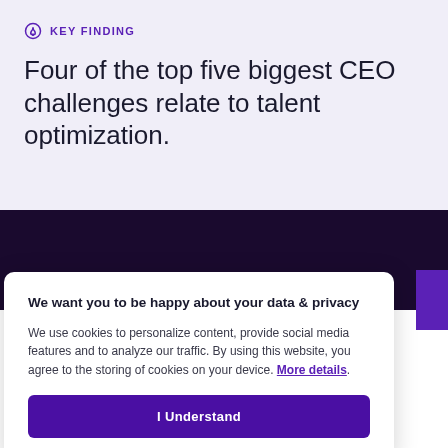KEY FINDING
Four of the top five biggest CEO challenges relate to talent optimization.
We want you to be happy about your data & privacy
We use cookies to personalize content, provide social media features and to analyze our traffic. By using this website, you agree to the storing of cookies on your device. More details.
I Understand